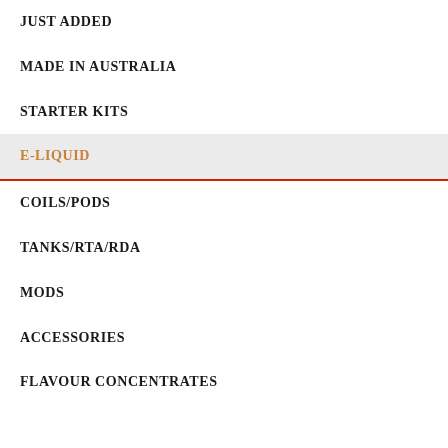JUST ADDED
MADE IN AUSTRALIA
STARTER KITS
E-LIQUID
COILS/PODS
TANKS/RTA/RDA
MODS
ACCESSORIES
FLAVOUR CONCENTRATES